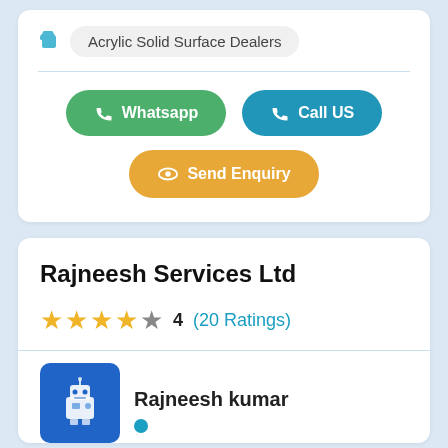Acrylic Solid Surface Dealers
Whatsapp
Call US
Send Enquiry
Rajneesh Services Ltd
4 (20 Ratings)
Rajneesh kumar